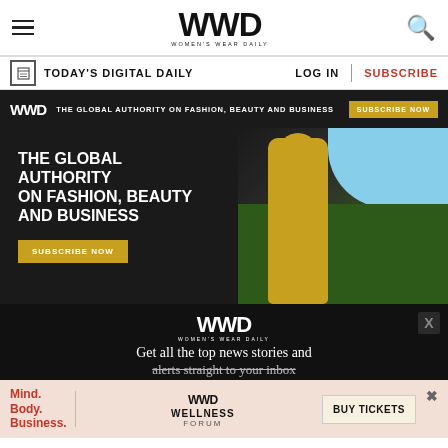WWD WOMEN'S WEAR DAILY
TODAY'S DIGITAL DAILY   LOG IN   SUBSCRIBE
WWD   THE GLOBAL AUTHORITY ON FASHION, BEAUTY AND BUSINESS   SUBSCRIBE NOW
[Figure (photo): Advertisement banner showing a woman in yellow outfit holding umbrella with text: THE GLOBAL AUTHORITY ON FASHION, BEAUTY AND BUSINESS with a SUBSCRIBE NOW button on dark background]
[Figure (screenshot): WWD black banner with logo and text: Get all the top news stories and alerts straight to your inbox]
[Figure (infographic): Wellness forum ad: Mind. Body. Business. WWD WELLNESS FORUM with BUY TICKETS button]